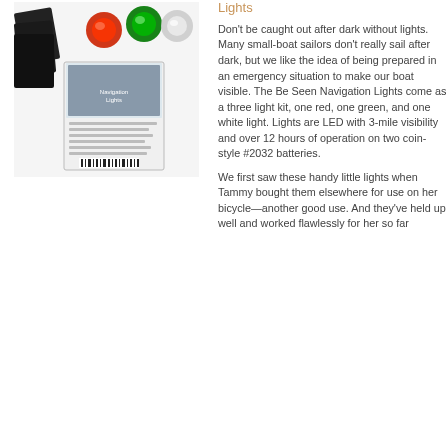[Figure (photo): Product photo showing Be Seen Navigation Lights kit with three LED lights (red, green, white/clear), black mounting hardware cards, and product packaging with barcode]
Lights
Don't be caught out after dark without lights. Many small-boat sailors don't really sail after dark, but we like the idea of being prepared in an emergency situation to make our boat visible. The Be Seen Navigation Lights come as a three light kit, one red, one green, and one white light. Lights are LED with 3-mile visibility and over 12 hours of operation on two coin-style #2032 batteries.
We first saw these handy little lights when Tammy bought them elsewhere for use on her bicycle—another good use. And they've held up well and worked flawlessly for her so far